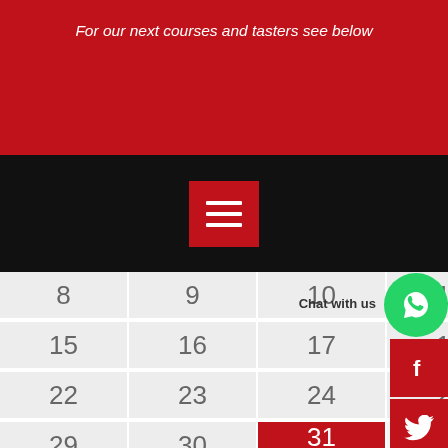For our next courses and tasters see below
[Figure (other): Navigation menu button (hamburger icon) on black bar]
| 8 | 9 | 10 | 11 | 12 | Chat with us | 1 |
| 15 | 16 | 17 | 18 | 19 | 20 | 2 |
| 22 | 23 | 24 | 25 | 26 | 27 | 28 |
| 29 | 30 | 31 |  |  |  |  |
[Figure (other): WhatsApp chat button (green circle with phone icon)]
[Figure (other): Facebook social button (red square with f icon)]
[Figure (other): Twitter social button (red square with bird icon)]
[Figure (other): Instagram social button (red square with camera icon)]
[Figure (other): Scroll up button (red square with up arrow)]